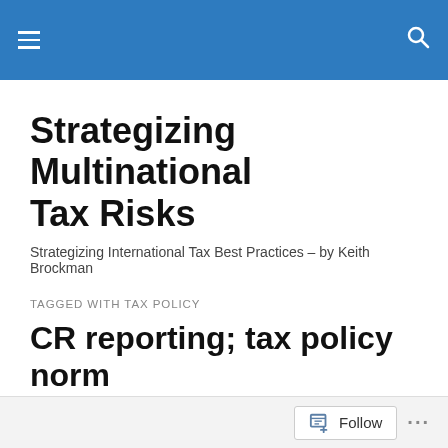Strategizing Multinational Tax Risks
Strategizing Multinational Tax Risks
Strategizing International Tax Best Practices – by Keith Brockman
TAGGED WITH TAX POLICY
CR reporting; tax policy norm
Corporate responsibility (CR) reporting is becoming more of a norm for MNE's, illustrated by KPMG's report as referenced herein.
Follow